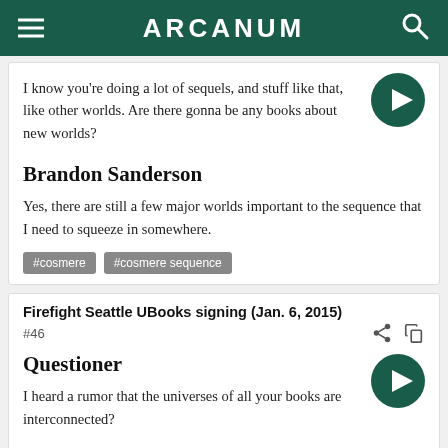ARCANUM
I know you're doing a lot of sequels, and stuff like that, like other worlds. Are there gonna be any books about new worlds?
Brandon Sanderson
Yes, there are still a few major worlds important to the sequence that I need to squeeze in somewhere.
#cosmere   #cosmere sequence
Firefight Seattle UBooks signing (Jan. 6, 2015)
#46
Questioner
I heard a rumor that the universes of all your books are interconnected?
Brandon Sanderson
Yes. Most of my books, not all of them. If a book mentions